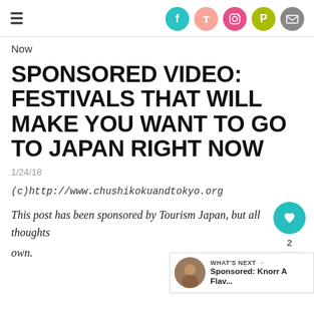≡   [social icons: Facebook, Twitter, Instagram, Pinterest, Email]
Now
SPONSORED VIDEO: FESTIVALS THAT WILL MAKE YOU WANT TO GO TO JAPAN RIGHT NOW
1/24/18
(c)http://www.chushikokuandtokyo.org
This post has been sponsored by Tourism Japan, but all thoughts own.